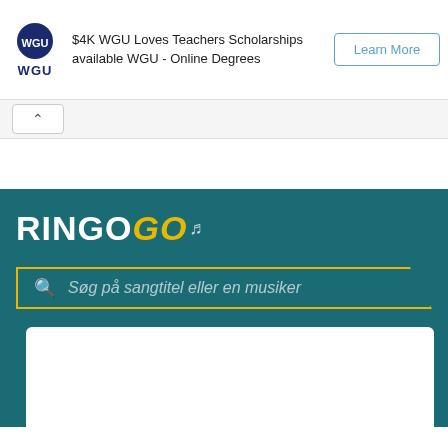[Figure (screenshot): WGU advertisement banner with logo, text about $4K WGU Loves Teachers Scholarships available WGU - Online Degrees, and a Learn More button]
$4K WGU Loves Teachers Scholarships available WGU - Online Degrees
[Figure (screenshot): Ringogo website header with logo RINGOGO and a search bar with placeholder text Søg på sangtitel eller en musiker]